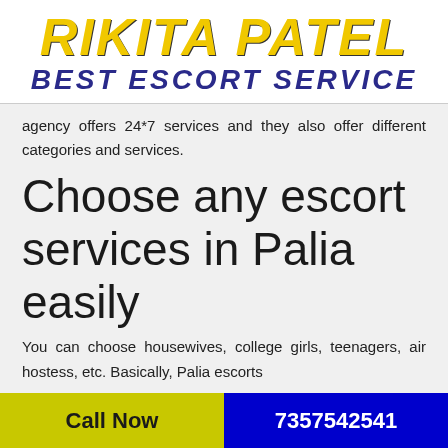RIKITA PATEL BEST ESCORT SERVICE
agency offers 24*7 services and they also offer different categories and services.
Choose any escort services in Palia easily
You can choose housewives, college girls, teenagers, air hostess, etc. Basically, Palia escorts
Call Now  7357542541